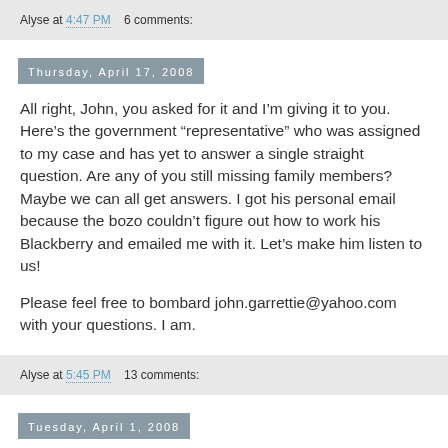Alyse at 4:47 PM    6 comments:
Thursday, April 17, 2008
All right, John, you asked for it and I'm giving it to you. Here's the government “representative” who was assigned to my case and has yet to answer a single straight question. Are any of you still missing family members? Maybe we can all get answers. I got his personal email because the bozo couldn’t figure out how to work his Blackberry and emailed me with it. Let’s make him listen to us!

Please feel free to bombard john.garrettie@yahoo.com with your questions. I am.
Alyse at 5:45 PM    13 comments:
Tuesday, April 1, 2008